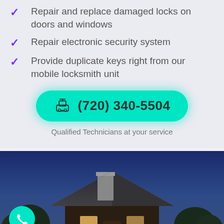Repair and replace damaged locks on doors and windows
Repair electronic security system
Provide duplicate keys right from our mobile locksmith unit
(720) 340-5504
Qualified Technicians at your service
[Figure (photo): House at dusk with illuminated roof and chimney against blue sky, with a teal phone call button in lower left]